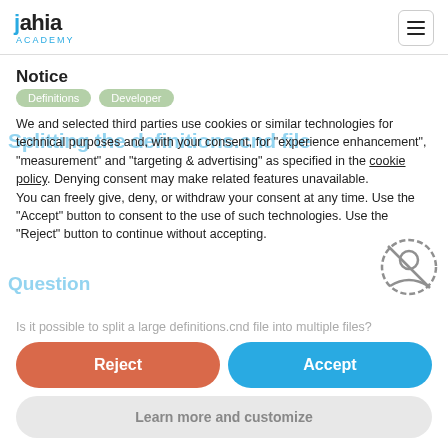[Figure (logo): Jahia Academy logo with hamburger menu icon]
Notice
Definitions  Developer
Splitting the definitions.cnd file
We and selected third parties use cookies or similar technologies for technical purposes and, with your consent, for "experience enhancement", "measurement" and "targeting & advertising" as specified in the cookie policy. Denying consent may make related features unavailable.
You can freely give, deny, or withdraw your consent at any time. Use the "Accept" button to consent to the use of such technologies. Use the "Reject" button to continue without accepting.
Question
Is it possible to split a large definitions.cnd file into multiple files?
Reject
Accept
Learn more and customize